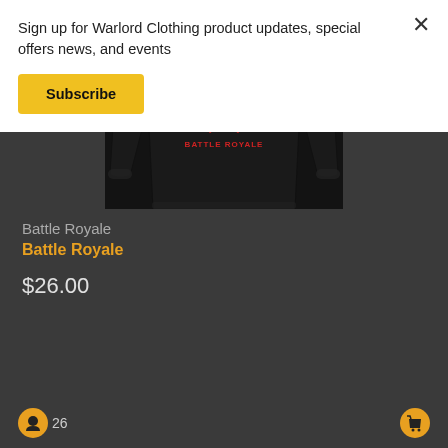Sign up for Warlord Clothing product updates, special offers news, and events
Subscribe
[Figure (photo): Black sweater/sweatshirt with Battle Royale graphic design featuring BR initials in a wreath and red crossed swords text logo on dark textured background]
Battle Royale
Battle Royale
$26.00